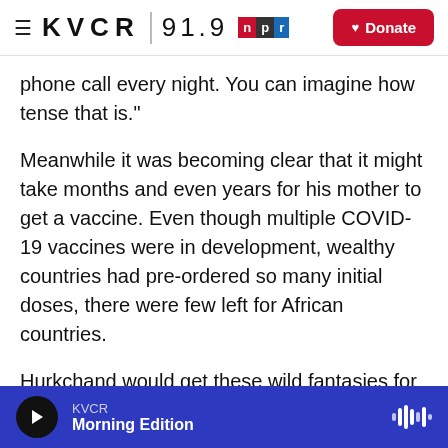KVCR 91.9 NPR | Donate
phone call every night. You can imagine how tense that is."
Meanwhile it was becoming clear that it might take months and even years for his mother to get a vaccine. Even though multiple COVID-19 vaccines were in development, wealthy countries had pre-ordered so many initial doses, there were few left for African countries.
Hurkchand would get these wild fantasies for how to help Thulja. "I had this thought that I would go over there and like, you know, sneak in a vaccine
KVCR | Morning Edition